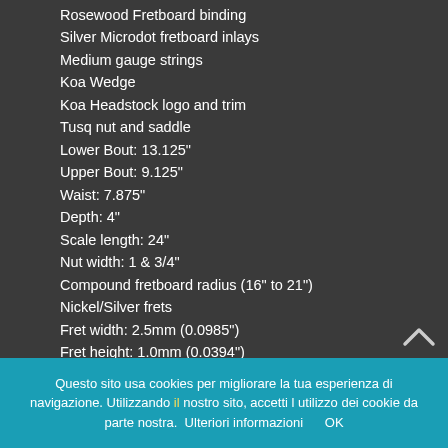Rosewood Fretboard binding
Silver Microdot fretboard inlays
Medium gauge strings
Koa Wedge
Koa Headstock logo and trim
Tusq nut and saddle
Lower Bout: 13.125"
Upper Bout: 9.125"
Waist: 7.875"
Depth: 4"
Scale length: 24"
Nut width: 1 & 3/4"
Compound fretboard radius (16" to 21")
Nickel/Silver frets
Fret width: 2.5mm (0.0985")
Fret height: 1.0mm (0.0394")
UV cured polyester finish
Limited Lifetime Warranty
Only 20 Units Made
Scale length: 24"
Questo sito usa cookies per migliorare la tua esperienza di navigazione. Utilizzando il nostro sito, accetti l utilizzo dei cookie da parte nostra.  Ulteriori informazioni     OK